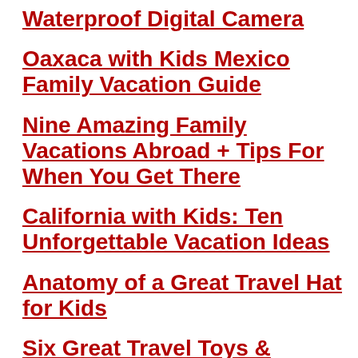Waterproof Digital Camera
Oaxaca with Kids Mexico Family Vacation Guide
Nine Amazing Family Vacations Abroad + Tips For When You Get There
California with Kids: Ten Unforgettable Vacation Ideas
Anatomy of a Great Travel Hat for Kids
Six Great Travel Toys & Games for